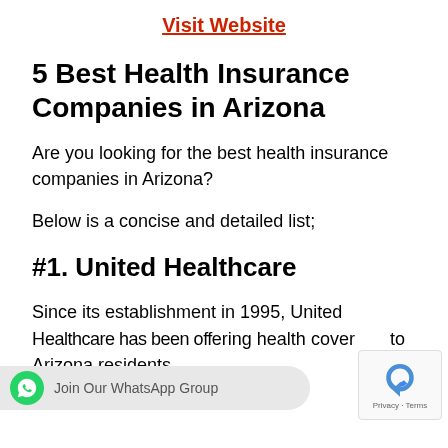Visit Website
5 Best Health Insurance Companies in Arizona
Are you looking for the best health insurance companies in Arizona?
Below is a concise and detailed list;
#1. United Healthcare
Since its establishment in 1995, United [H]ealthcare has been offering health coverage to Arizona residents.